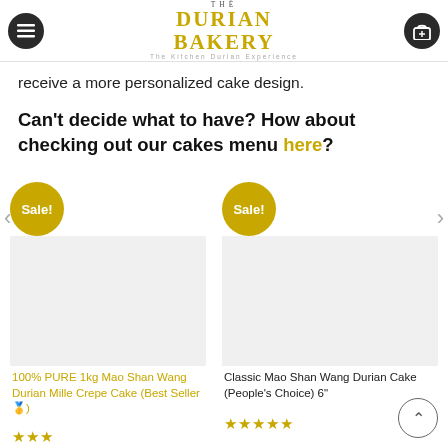THE DURIAN BAKERY — The Kitchen Durian Experience
receive a more personalized cake design.
Can't decide what to have? How about checking out our cakes menu here?
[Figure (other): Sale badge circle on product card 1 — 100% PURE 1kg Mao Shan Wang Durian Mille Crepe Cake (Best Seller)]
[Figure (other): Sale badge circle on product card 2 — Classic Mao Shan Wang Durian Cake (People's Choice) 6 inch]
100% PURE 1kg Mao Shan Wang Durian Mille Crepe Cake (Best Seller 🥇)
Classic Mao Shan Wang Durian Cake (People's Choice) 6"